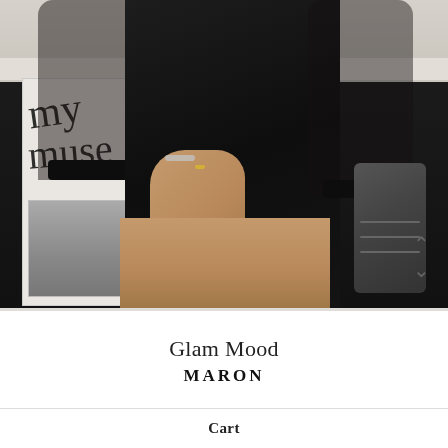[Figure (photo): A woman wearing a black bodycon mini dress with sheer lace long sleeves, posing in front of a wall with a decorative poster. She is holding a textured dark bag on her right side. The photo is cropped to show from chest/shoulders to upper thighs.]
Glam Mood
MARON
Cart